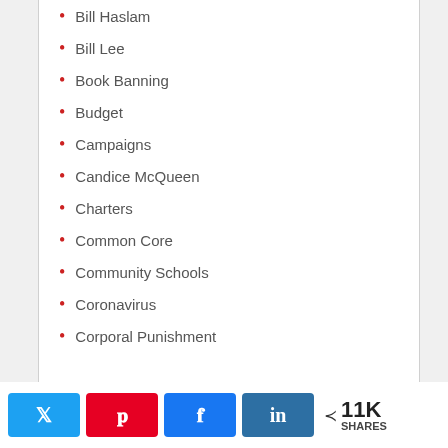Bill Haslam
Bill Lee
Book Banning
Budget
Campaigns
Candice McQueen
Charters
Common Core
Community Schools
Coronavirus
Corporal Punishment
11K SHARES